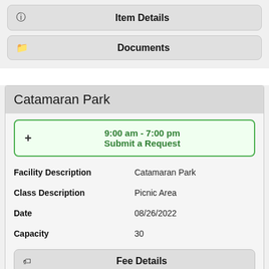Item Details
Documents
Catamaran Park
9:00 am - 7:00 pm
Submit a Request
| Field | Value |
| --- | --- |
| Facility Description | Catamaran Park |
| Class Description | Picnic Area |
| Date | 08/26/2022 |
| Capacity | 30 |
Fee Details
View Map